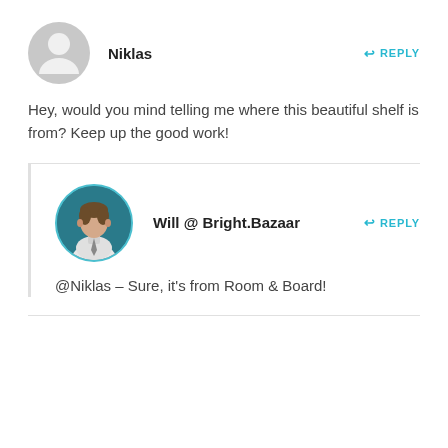[Figure (illustration): Gray placeholder avatar circle with silhouette icon for user Niklas]
Niklas
REPLY
Hey, would you mind telling me where this beautiful shelf is from? Keep up the good work!
[Figure (photo): Circular profile photo with teal border of Will @ Bright.Bazaar, showing a young man in a white shirt]
Will @ Bright.Bazaar
REPLY
@Niklas – Sure, it's from Room & Board!